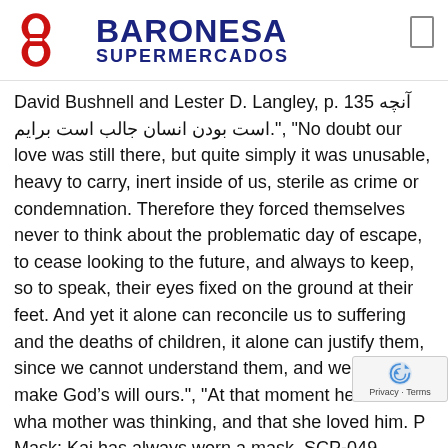[Figure (logo): Baronesa Supermercados logo: red circular double-B icon on the left, bold dark blue text BARONESA on top and SUPERMERCADOS below on the right.]
David Bushnell and Lester D. Langley, p. 135 آنچه است بودن انسان جالب است برایم.", "No doubt our love was still there, but quite simply it was unusable, heavy to carry, inert inside of us, sterile as crime or condemnation. Therefore they forced themselves never to think about the problematic day of escape, to cease looking to the future, and always to keep, so to speak, their eyes fixed on the ground at their feet. And yet it alone can reconcile us to suffering and the deaths of children, it alone can justify them, since we cannot understand them, and we can only make God's will ours.", "At that moment he knew wha mother was thinking, and that she loved him. P Mask: Kai has always worn a mask. SCP-049 cannot